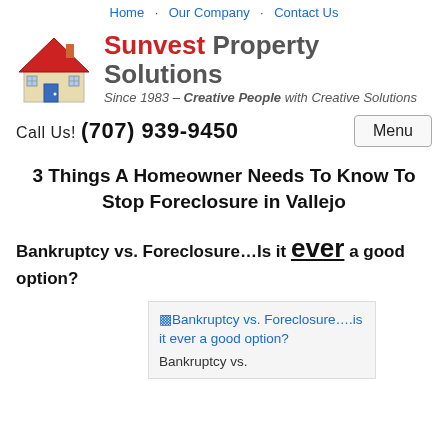Home · Our Company · Contact Us
[Figure (logo): Sunvest Property Solutions logo with house illustration. Text: Sunvest Property Solutions — Since 1983 – Creative People with Creative Solutions]
Call Us! (707) 939-9450    Menu
3 Things A Homeowner Needs To Know To Stop Foreclosure in Vallejo
Bankruptcy vs. Foreclosure…Is it ever a good option?
[Figure (photo): Broken/missing image placeholder showing alt text: Bankruptcy vs. Foreclosure….is it ever a good option? Caption: Bankruptcy vs.]